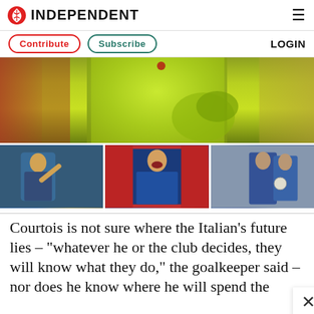Independent
Contribute  Subscribe  LOGIN
[Figure (photo): Close-up of a goalkeeper in a lime green jersey and gloves, torso and arms visible, blurred crowd background]
[Figure (photo): Three thumbnail photos of Chelsea FC players in blue jerseys celebrating or in action during a match]
Courtois is not sure where the Italian's future lies – "whatever he or the club decides, they will know what they do," the goalkeeper said – nor does he know where he will spend the